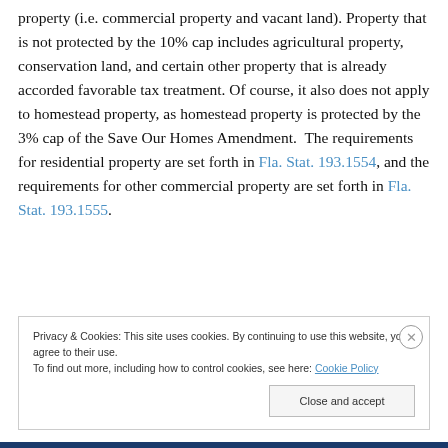property (i.e. commercial property and vacant land). Property that is not protected by the 10% cap includes agricultural property, conservation land, and certain other property that is already accorded favorable tax treatment. Of course, it also does not apply to homestead property, as homestead property is protected by the 3% cap of the Save Our Homes Amendment. The requirements for residential property are set forth in Fla. Stat. 193.1554, and the requirements for other commercial property are set forth in Fla. Stat. 193.1555.
Privacy & Cookies: This site uses cookies. By continuing to use this website, you agree to their use. To find out more, including how to control cookies, see here: Cookie Policy